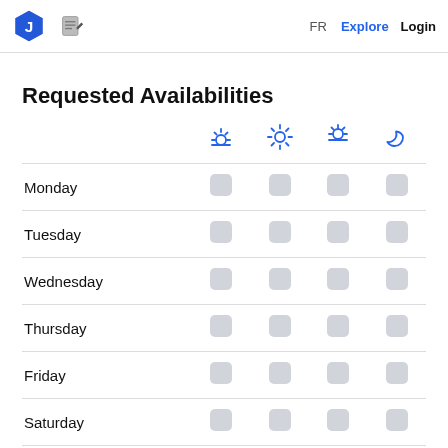FR Explore Login
Requested Availabilities
|  | sunrise | sun | sunset | moon |
| --- | --- | --- | --- | --- |
| Monday |  |  |  |  |
| Tuesday |  |  |  |  |
| Wednesday |  |  |  |  |
| Thursday |  |  |  |  |
| Friday |  |  |  |  |
| Saturday |  |  |  |  |
| Sunday |  |  |  |  |